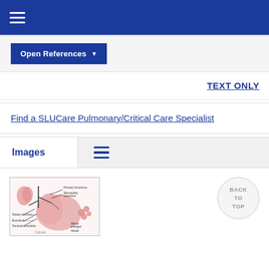Open References
TEXT ONLY
Find a SLUCare Pulmonary/Critical Care Specialist
Images
[Figure (illustration): Anatomical illustration of lungs showing primary bronchus, secondary bronchus, tertiary bronchus, bronchiole, terminal bronchiole, alveoli enlarged, alveoli. Labeled diagram with lines pointing to structures. Credit: ADAM.]
BACK TO TOP